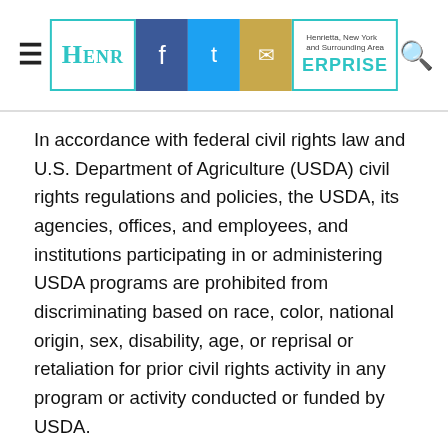Henry County Enterprise newspaper header with social media icons (Facebook, Twitter, Email)
In accordance with federal civil rights law and U.S. Department of Agriculture (USDA) civil rights regulations and policies, the USDA, its agencies, offices, and employees, and institutions participating in or administering USDA programs are prohibited from discriminating based on race, color, national origin, sex, disability, age, or reprisal or retaliation for prior civil rights activity in any program or activity conducted or funded by USDA.
Persons with disabilities who require alternative means of communication for program information (e.g., Braille, large print, audiotape, American Sign Language, etc.), may contact the agency (state or local) where they applied for benefits. Individuals who are deaf, hard of hearing or have